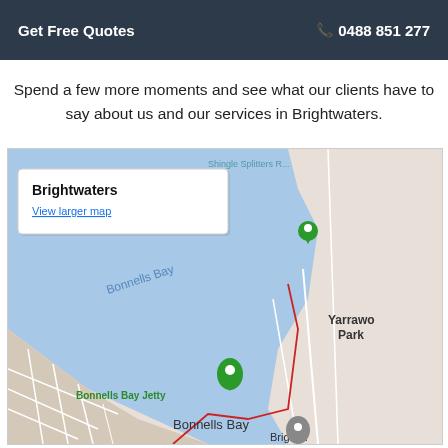Get Free Quotes   📞 0488 851 277
Spend a few more moments and see what our clients have to say about us and our services in Brightwaters.
[Figure (map): Google Map screenshot showing Brightwaters area with Bonnells Bay, Bonnells Bay Jetty, Yarrawo Park, and surrounding streets. A popup shows 'Brightwaters' with a 'View larger map' link.]